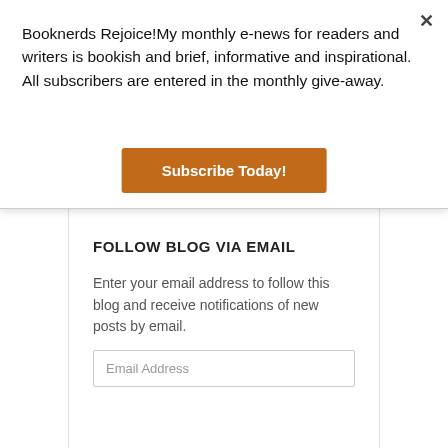Booknerds Rejoice!My monthly e-news for readers and writers is bookish and brief, informative and inspirational. All subscribers are entered in the monthly give-away.
Subscribe Today!
FOLLOW BLOG VIA EMAIL
Enter your email address to follow this blog and receive notifications of new posts by email.
Email Address